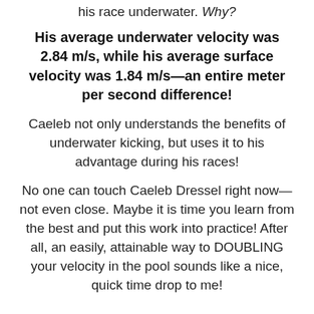his race underwater. Why?
His average underwater velocity was 2.84 m/s, while his average surface velocity was 1.84 m/s—an entire meter per second difference!
Caeleb not only understands the benefits of underwater kicking, but uses it to his advantage during his races!
No one can touch Caeleb Dressel right now—not even close. Maybe it is time you learn from the best and put this work into practice! After all, an easily, attainable way to DOUBLING your velocity in the pool sounds like a nice, quick time drop to me!